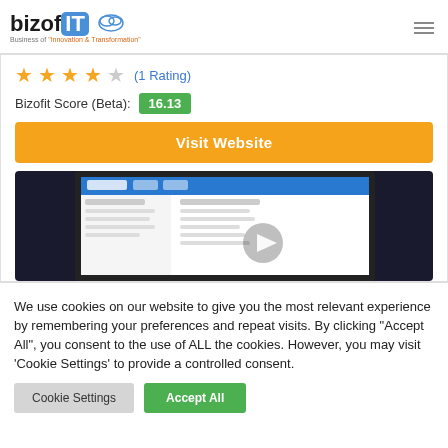bizofit — Business of Innovation & Transformation
★★★★☆ (1 Rating)
Bizofit Score (Beta): 16.13
Visit Website
[Figure (screenshot): Screenshot of bizofit website dashboard interface shown on a laptop/monitor]
We use cookies on our website to give you the most relevant experience by remembering your preferences and repeat visits. By clicking "Accept All", you consent to the use of ALL the cookies. However, you may visit 'Cookie Settings' to provide a controlled consent.
Cookie Settings | Accept All